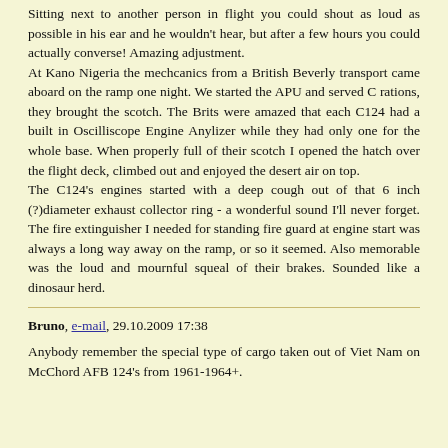Sitting next to another person in flight you could shout as loud as possible in his ear and he wouldn't hear, but after a few hours you could actually converse! Amazing adjustment.
At Kano Nigeria the mechcanics from a British Beverly transport came aboard on the ramp one night. We started the APU and served C rations, they brought the scotch. The Brits were amazed that each C124 had a built in Oscilliscope Engine Anylizer while they had only one for the whole base. When properly full of their scotch I opened the hatch over the flight deck, climbed out and enjoyed the desert air on top.
The C124's engines started with a deep cough out of that 6 inch (?)diameter exhaust collector ring - a wonderful sound I'll never forget. The fire extinguisher I needed for standing fire guard at engine start was always a long way away on the ramp, or so it seemed. Also memorable was the loud and mournful squeal of their brakes. Sounded like a dinosaur herd.
Bruno, e-mail, 29.10.2009 17:38
Anybody remember the special type of cargo taken out of Viet Nam on McChord AFB 124's from 1961-1964+.